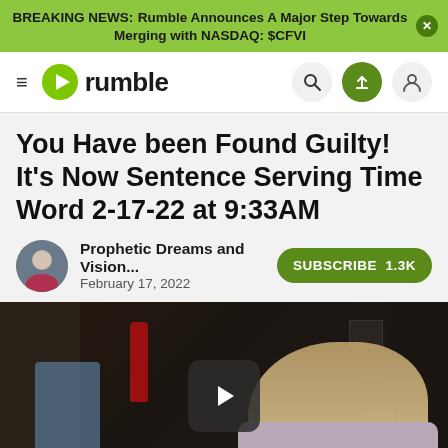BREAKING NEWS: Rumble Announces A Major Step Towards Merging with NASDAQ: $CFVI
[Figure (screenshot): Rumble website navigation bar with hamburger menu, Rumble logo, search icon, upload icon, and user icon]
You Have been Found Guilty! It's Now Sentence Serving Time Word 2-17-22 at 9:33AM
Prophetic Dreams and Vision... — February 17, 2022 — SUBSCRIBE 1.3K
[Figure (screenshot): Video thumbnail showing a blonde woman with a play button overlay in the center, dark indoor background]